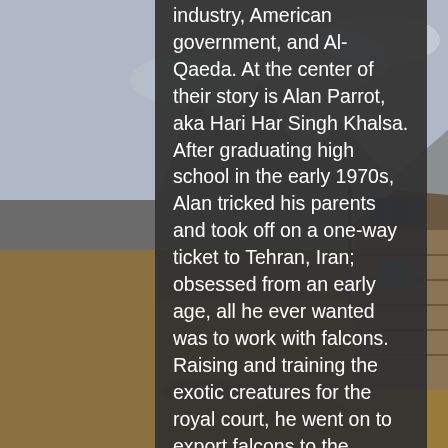[Figure (photo): Outdoor mountain landscape with a wooden cabin/house with solar panels on the roof, rocky mountains in the background, dry scrubland in the foreground. Sky is overcast.]
industry, American government, and Al-Qaeda. At the center of their story is Alan Parrot, aka Hari Har Singh Khalsa. After graduating high school in the early 1970s, Alan tricked his parents and took off on a one-way ticket to Tehran, Iran; obsessed from an early age, all he ever wanted was to work with falcons. Raising and training the exotic creatures for the royal court, he went on to export falcons to the president of the UAE professionally, implicating him as the one who first spurred the modern economy for the birds. Hardarson and Arnarson's bold investigation reveals not only the wild behavior of men obsessed with a bird of prey, but the unlikely character behind the movement to impede their smuggling.